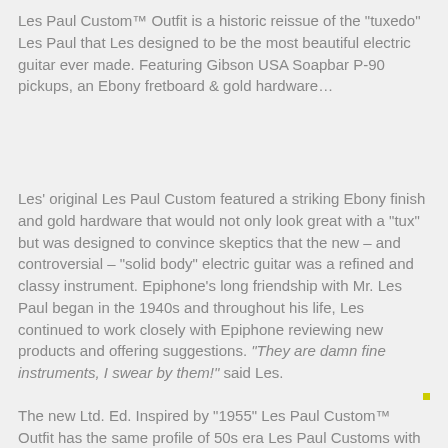Les Paul Custom™ Outfit is a historic reissue of the "tuxedo" Les Paul that Les designed to be the most beautiful electric guitar ever made. Featuring Gibson USA Soapbar P-90 pickups, an Ebony fretboard & gold hardware…
Les' original Les Paul Custom featured a striking Ebony finish and gold hardware that would not only look great with a "tux" but was designed to convince skeptics that the new – and controversial – "solid body" electric guitar was a refined and classy instrument. Epiphone's long friendship with Mr. Les Paul began in the 1940s and throughout his life, Les continued to work closely with Epiphone reviewing new products and offering suggestions. "They are damn fine instruments, I swear by them!" said Les.
The new Ltd. Ed. Inspired by "1955" Les Paul Custom™ Outfit has the same profile of 50s era Les Paul Customs with a Mahogany body